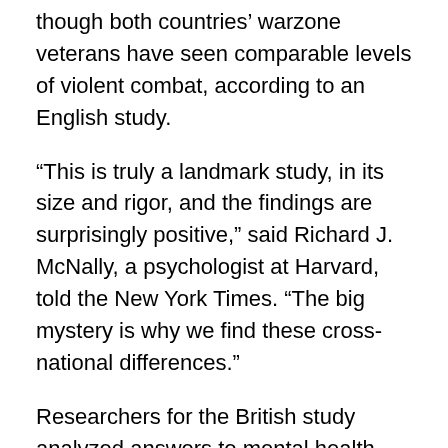though both countries' warzone veterans have seen comparable levels of violent combat, according to an English study.
“This is truly a landmark study, in its size and rigor, and the findings are surprisingly positive,” said Richard J. McNally, a psychologist at Harvard, told the New York Times. “The big mystery is why we find these cross-national differences.”
Researchers for the British study analyzed answers to mental health questionnaires given to Royal Army, Navy and Air Force members. The results showed that approximately 20 percent suffered some form of mental health issues, including moderate anxiety and depression. Another 13 percent admitted to drinking heavily. However, few were diagnosed with PTSD.